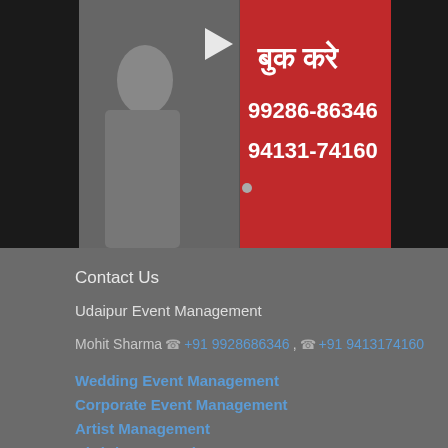[Figure (screenshot): Video thumbnail showing a female singer with microphone on left, red panel on right with Hindi text 'बुक करे' and phone numbers 99286-86346 and 94131-74160, with a play button overlay.]
Contact Us
Udaipur Event Management
Mohit Sharma ☎ +91 9928686346, ☎ +91 9413174160
Wedding Event Management
Corporate Event Management
Artist Management
Birthday Party Planner